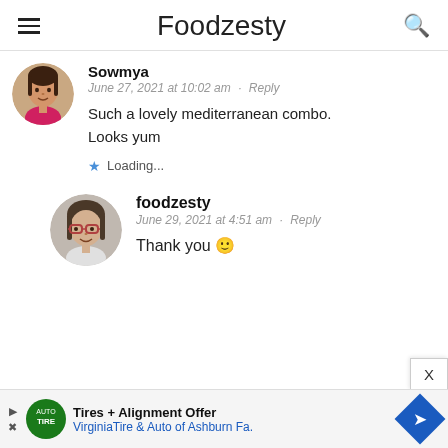Foodzesty
Sowmya
June 27, 2021 at 10:02 am · Reply
Such a lovely mediterranean combo. Looks yum
Loading...
foodzesty
June 29, 2021 at 4:51 am · Reply
Thank you 🙂
[Figure (other): Advertisement banner: Tires + Alignment Offer, Virginia Tire & Auto of Ashburn Fa.]